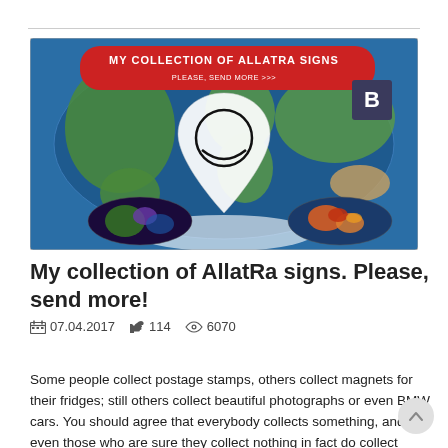[Figure (illustration): A banner/image for 'My Collection of AllatRa Signs' featuring a world map background with a large location pin icon containing an AllatRa sign (circle with crescent), a red banner at the top reading 'MY COLLECTION OF ALLATRA SIGNS / PLEASE, SEND MORE >>>', a 'B' icon (likely Behance), and two smaller globe insets at the bottom.]
My collection of AllatRa signs. Please, send more!
07.04.2017   114   6070
Some people collect postage stamps, others collect magnets for their fridges; still others collect beautiful photographs or even BMW cars. You should agree that everybody collects something, and even those who are sure they collect nothing in fact do collect